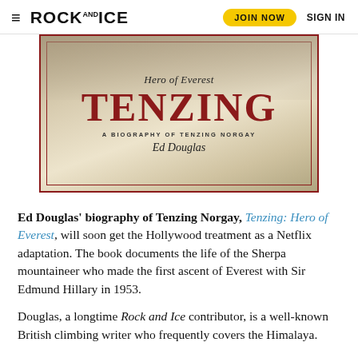≡ ROCK AND ICE  JOIN NOW  SIGN IN
[Figure (photo): Book cover of 'Tenzing: Hero of Everest – A Biography of Tenzing Norgay' by Ed Douglas, showing the title in large red letters against a vintage mountaineering background.]
Ed Douglas' biography of Tenzing Norgay, Tenzing: Hero of Everest, will soon get the Hollywood treatment as a Netflix adaptation. The book documents the life of the Sherpa mountaineer who made the first ascent of Everest with Sir Edmund Hillary in 1953.
Douglas, a longtime Rock and Ice contributor, is a well-known British climbing writer who frequently covers the Himalaya.